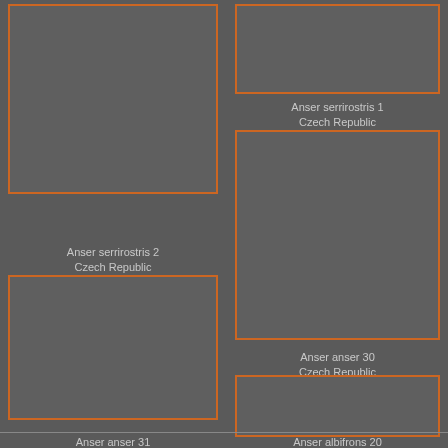[Figure (photo): Empty orange-bordered image placeholder, top-left]
[Figure (photo): Empty orange-bordered image placeholder, top-right]
Anser serrirostris 1
Czech Republic
[Figure (photo): Empty orange-bordered image placeholder, middle-right]
Anser serrirostris 2
Czech Republic
Anser anser 30
Czech Republic
[Figure (photo): Empty orange-bordered image placeholder, lower-left]
[Figure (photo): Empty orange-bordered image placeholder, lower-right]
Anser anser 31
Czech Republic
Anser albifrons 20
Czech Republic